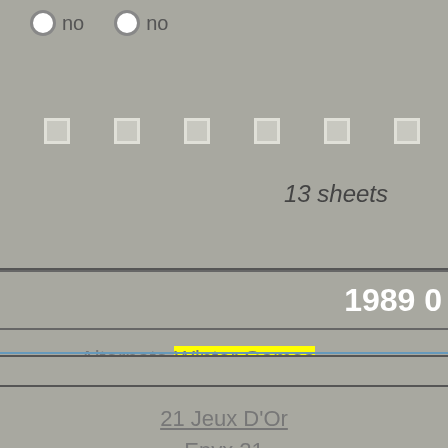no   no
[Figure (other): Row of checkboxes (small squares) across the page]
13 sheets
1989
Alternate Winter Games
21 Jeux D'Or
Epyx 21